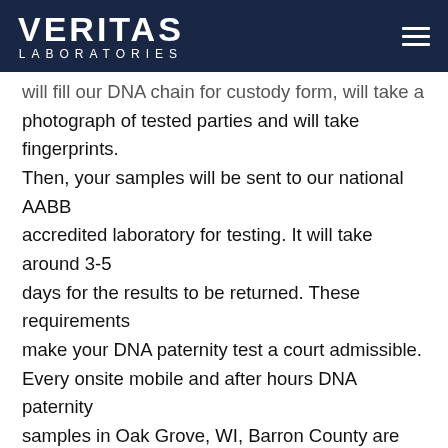VERITAS LABORATORIES
will fill our DNA chain for custody form, will take a photograph of tested parties and will take fingerprints. Then, your samples will be sent to our national AABB accredited laboratory for testing. It will take around 3-5 days for the results to be returned. These requirements make your DNA paternity test a court admissible. Every onsite mobile and after hours DNA paternity samples in Oak Grove, WI, Barron County are tested and compared using the most accurate testing technology available. The alleged father's and child's genetic sample will be compared using the 21 genetic marker method. There is no room for inconclusive results. You will get a definite answer you are the father or you are not. Results will state 0% (zero percent) or 99.99%. We facilitate onsite